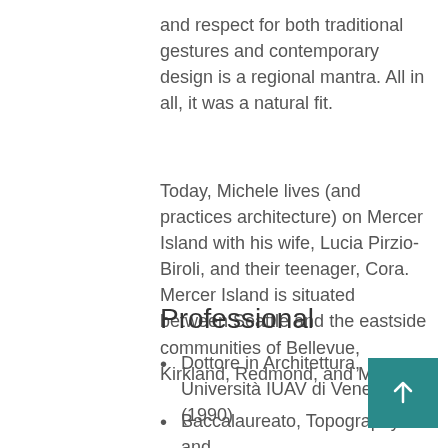and respect for both traditional gestures and contemporary design is a regional mantra. All in all, it was a natural fit.
Today, Michele lives (and practices architecture) on Mercer Island with his wife, Lucia Pirzio-Biroli, and their teenager, Cora. Mercer Island is situated between Seattle and the eastside communities of Bellevue, Kirkland, Redmond, and Medina.
Professional
Dottore in Architettura, Università IUAV di Venezia (1990)
Baccalaureato, Topography and